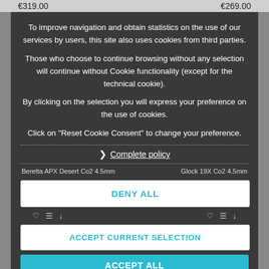€319.00
€269.00
To improve navigation and obtain statistics on the use of our services by users, this site also uses cookies from third parties.
Those who choose to continue browsing without any selection will continue without Cookie functionality (except for the technical cookie).
By clicking on the selection you will express your preference on the use of cookies.
Click on "Reset Cookie Consent" to change your preference.
> Complete policy
Beretta APX Desert Co2 4.5mm
Glock 19X Co2 4.5mm
DENY ALL
ACCEPT CURRENT SELECTION
ACCEPT ALL